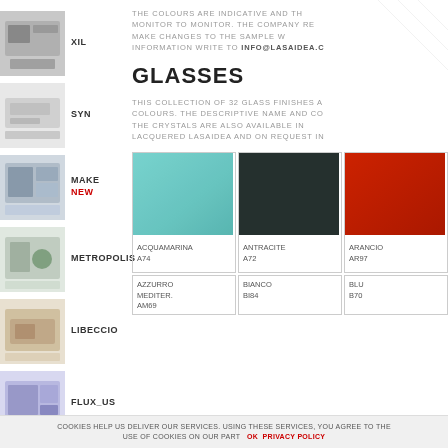[Figure (photo): XIL product thumbnail - bathroom furniture]
XIL
[Figure (photo): SYN product thumbnail - bathroom furniture]
SYN
[Figure (photo): MAKE product thumbnail - bathroom furniture]
MAKE
NEW
[Figure (photo): METROPOLIS product thumbnail - bathroom furniture]
METROPOLIS
[Figure (photo): LIBECCIO product thumbnail - bathroom furniture]
LIBECCIO
[Figure (photo): FLUX_US product thumbnail - bathroom furniture]
FLUX_US
THE COLOURS ARE INDICATIVE AND TH MONITOR TO MONITOR. THE COMPANY RE MAKE CHANGES TO THE SAMPLE W INFORMATION WRITE TO INFO@LASAIDEA.C
GLASSES
THIS COLLECTION OF 32 GLASS FINISHES A COLOURS. THE DESCRIPTIVE NAME AND CO THE CRYSTALS ARE ALSO AVAILABLE IN LACQUERED LASAIDEA AND ON REQUEST IN
| ACQUAMARINA A74 | ANTRACITE A72 | ARANCIO AR97 |
| AZZURRO MEDITER. AM69 | BIANCO BI84 | BLU B70 |
COOKIES HELP US DELIVER OUR SERVICES. USING THESE SERVICES, YOU AGREE TO THE USE OF COOKIES ON OUR PART   OK   PRIVACY POLICY